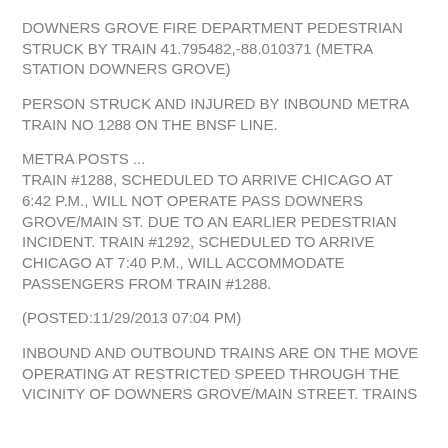DOWNERS GROVE FIRE DEPARTMENT PEDESTRIAN STRUCK BY TRAIN 41.795482,-88.010371 (METRA STATION DOWNERS GROVE)
PERSON STRUCK AND INJURED BY INBOUND METRA TRAIN NO 1288 ON THE BNSF LINE.
METRA POSTS ...
TRAIN #1288, SCHEDULED TO ARRIVE CHICAGO AT 6:42 P.M., WILL NOT OPERATE PASS DOWNERS GROVE/MAIN ST. DUE TO AN EARLIER PEDESTRIAN INCIDENT. TRAIN #1292, SCHEDULED TO ARRIVE CHICAGO AT 7:40 P.M., WILL ACCOMMODATE PASSENGERS FROM TRAIN #1288.
(POSTED:11/29/2013 07:04 PM)
INBOUND AND OUTBOUND TRAINS ARE ON THE MOVE OPERATING AT RESTRICTED SPEED THROUGH THE VICINITY OF DOWNERS GROVE/MAIN STREET. TRAINS